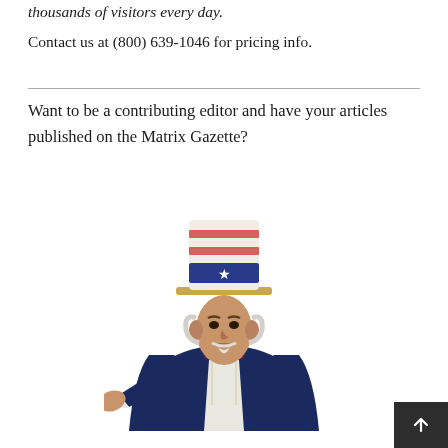thousands of visitors every day.
Contact us at (800) 639-1046 for pricing info.
Want to be a contributing editor and have your articles published on the Matrix Gazette?
[Figure (illustration): Classic Uncle Sam illustration pointing at the viewer, wearing a patriotic top hat with stars and stripes, dark blue coat, white shirt, and red bow tie.]